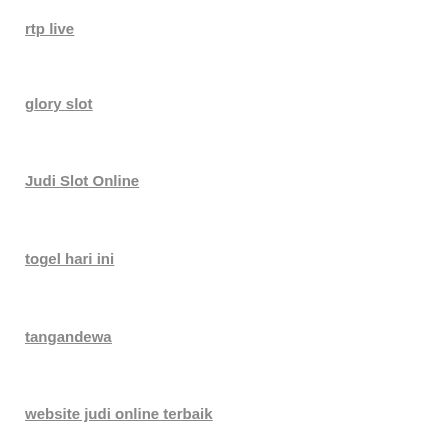rtp live
glory slot
Judi Slot Online
togel hari ini
tangandewa
website judi online terbaik